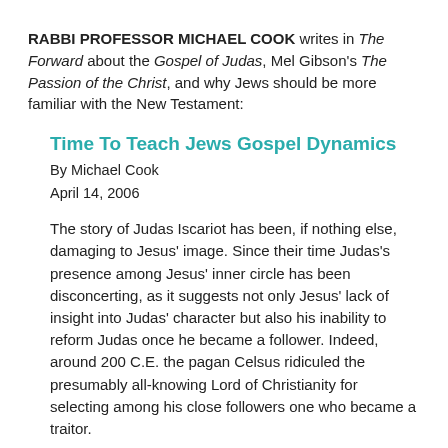RABBI PROFESSOR MICHAEL COOK writes in The Forward about the Gospel of Judas, Mel Gibson's The Passion of the Christ, and why Jews should be more familiar with the New Testament:
Time To Teach Jews Gospel Dynamics
By Michael Cook
April 14, 2006
The story of Judas Iscariot has been, if nothing else, damaging to Jesus' image. Since their time Judas's presence among Jesus' inner circle has been disconcerting, as it suggests not only Jesus' lack of insight into Judas' character but also his inability to reform Judas once he became a follower. Indeed, around 200 C.E. the pagan Celsus ridiculed the presumably all-knowing Lord of Christianity for selecting among his close followers one who became a traitor.
One purpose of the recently discovered Gospel